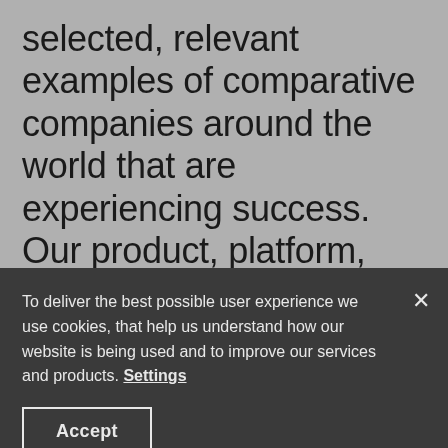selected, relevant examples of comparative companies around the world that are experiencing success. Our product, platform, brand, digital, and innovation strategy are not just another consulting framework. They are tangible and concrete strategic steps that will change the way you
To deliver the best possible user experience we use cookies, that help us understand how our website is being used and to improve our services and products. Settings
Accept